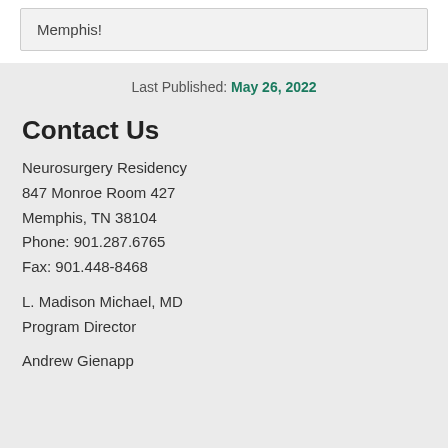Memphis!
Last Published: May 26, 2022
Contact Us
Neurosurgery Residency
847 Monroe Room 427
Memphis, TN 38104
Phone: 901.287.6765
Fax: 901.448-8468
L. Madison Michael, MD
Program Director
Andrew Gienapp